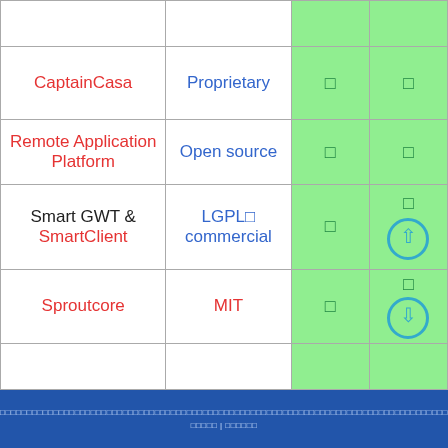|  |  |  |  |
| --- | --- | --- | --- |
|  |  | ✓ | ✓ |
| CaptainCasa | Proprietary | ✓ | ✓ |
| Remote Application Platform | Open source | ✓ | ✓ |
| Smart GWT & SmartClient | LGPL/ commercial | ✓ | ✓ |
| Sproutcore | MIT | ✓ | ✓ |
|  |  |  |  |
□□□□□□□□□□□□□□□□□□□□□□□□□□□□□□□□□□□□□□□□□□□□□□□□□□□□□□□□□□□□□□□□□□□□□□□□□□□□□□□□□□□□□□□□□□□□□□□□□□□□□□□□□□□□□□□□□□  □□□□□ | □□□□□□